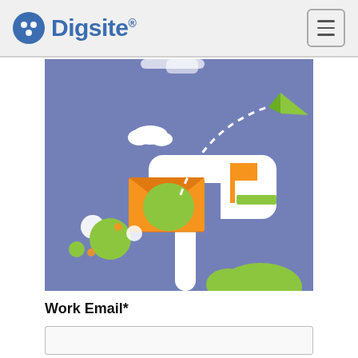Digsite
[Figure (illustration): Illustration of a mailbox with an orange envelope and flag, green bush, white clouds, dashed arc line with a green paper airplane, on a periwinkle/slate-blue background with decorative circles]
Work Email*